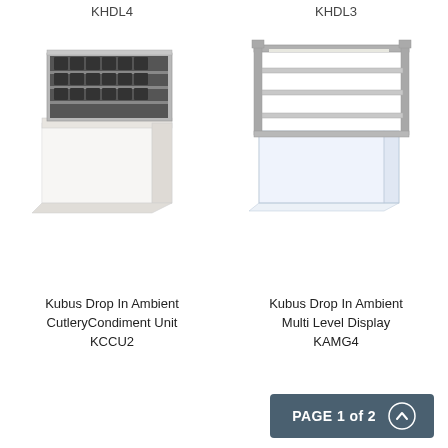KHDL4
KHDL3
[Figure (photo): Kubus Drop In Ambient CutleryCondiment Unit KCCU2 - product image showing a white counter unit with stacked cutlery/condiment holders on top]
[Figure (photo): Kubus Drop In Ambient Multi Level Display KAMG4 - product image showing a transparent/glass multi-level display unit with metal frame and shelves]
Kubus Drop In Ambient CutleryCondiment Unit KCCU2
Kubus Drop In Ambient Multi Level Display KAMG4
PAGE 1 of 2